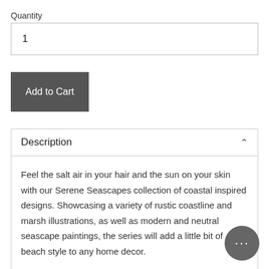Quantity
1
Add to Cart
Description
Feel the salt air in your hair and the sun on your skin with our Serene Seascapes collection of coastal inspired designs. Showcasing a variety of rustic coastline and marsh illustrations, as well as modern and neutral seascape paintings, the series will add a little bit of beach style to any home decor.
"Rolling Seas" is a horizontally oriented piece featuring black seascape sketch on a white background.